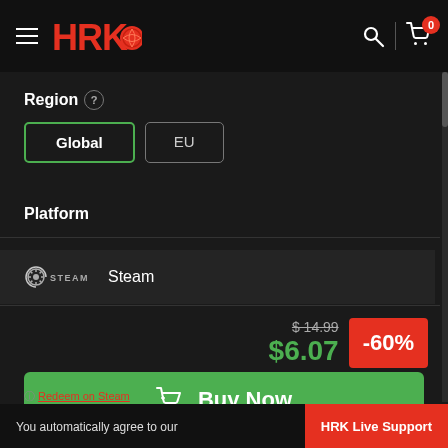[Figure (screenshot): HRK Game website header with logo, hamburger menu, search and cart icons]
Region ?
Global | EU (region selector buttons)
Platform
[Figure (logo): Steam logo with feather/wheel icon and STEAM text]
Steam
$ 14.99 (strikethrough original price)
$6.07
-60%
Buy Now
You automatically agree to our
Redeem on Steam
and terms and conditions by
HRK Live Support